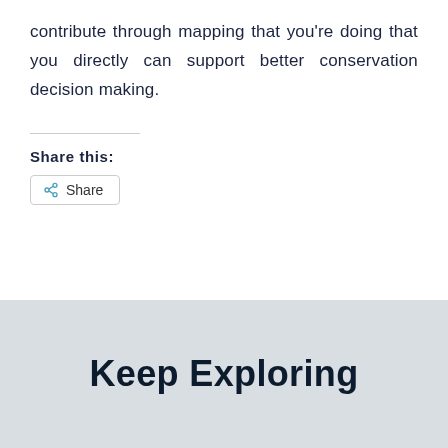contribute through mapping that you’re doing that you directly can support better conservation decision making.
Share this:
[Figure (other): Share button with share icon]
Keep Exploring